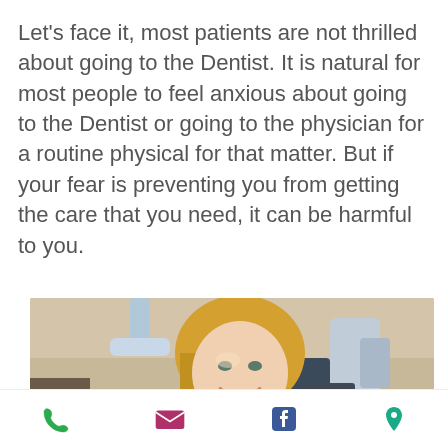Let's face it, most patients are not thrilled about going to the Dentist. It is natural for most people to feel anxious about going to the Dentist or going to the physician for a routine physical for that matter. But if your fear is preventing you from getting the care that you need, it can be harmful to you.
[Figure (photo): A smiling blonde woman sitting in a dental chair in a dental office, with dental equipment visible around her.]
Phone | Email | Facebook | Location icons